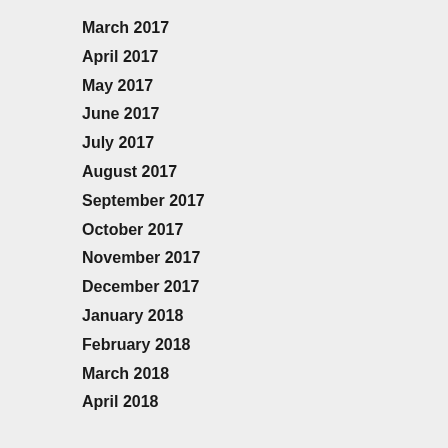March 2017
April 2017
May 2017
June 2017
July 2017
August 2017
September 2017
October 2017
November 2017
December 2017
January 2018
February 2018
March 2018
April 2018